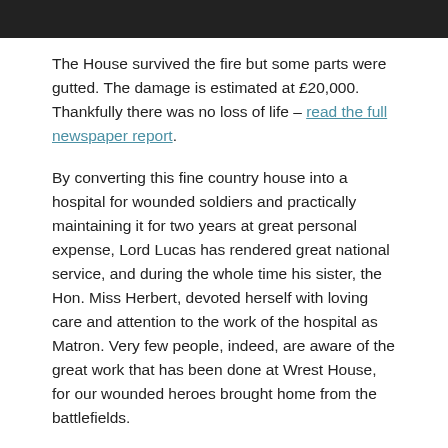[Figure (other): Dark header bar at top of page]
The House survived the fire but some parts were gutted. The damage is estimated at £20,000. Thankfully there was no loss of life – read the full newspaper report.
By converting this fine country house into a hospital for wounded soldiers and practically maintaining it for two years at great personal expense, Lord Lucas has rendered great national service, and during the whole time his sister, the Hon. Miss Herbert, devoted herself with loving care and attention to the work of the hospital as Matron. Very few people, indeed, are aware of the great work that has been done at Wrest House, for our wounded heroes brought home from the battlefields.
The authorities have come to the decision that Wrest Park will no longer be used as a military hospital.